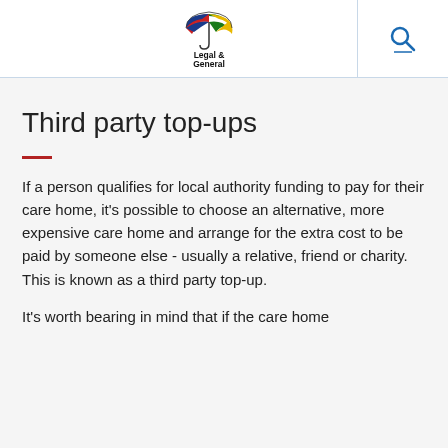[Figure (logo): Legal & General logo with colourful umbrella icon above the text 'Legal & General']
Third party top-ups
If a person qualifies for local authority funding to pay for their care home, it's possible to choose an alternative, more expensive care home and arrange for the extra cost to be paid by someone else - usually a relative, friend or charity. This is known as a third party top-up.
It's worth bearing in mind that if the care home